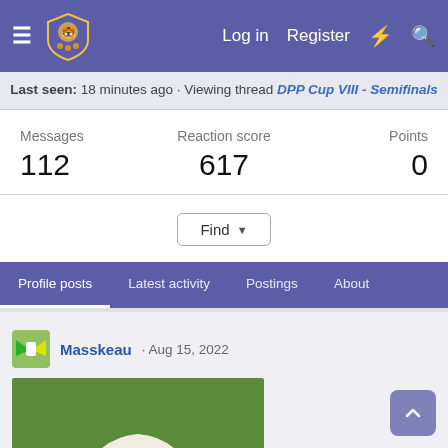Log in  Register
Last seen: 18 minutes ago · Viewing thread DPP Cup VIII - Semifinals
Messages 112   Reaction score 617   Points 0
Find ▾
Profile posts  Latest activity  Postings  About
Masskeau · Aug 15, 2022
[Figure (photo): Photo of a corgi dog wearing a white cowboy hat, sitting on green grass]